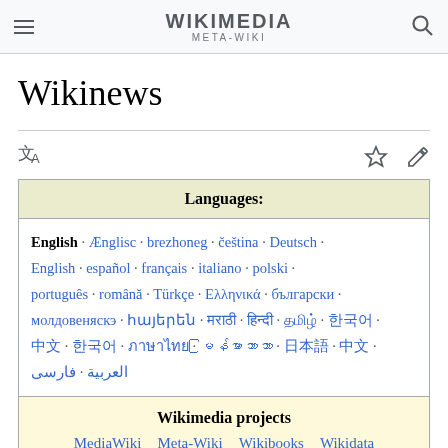WIKIMEDIA META-WIKI
Wikinews
| Languages: |
| --- |
| English · Ænglisc · brezhoneg · čeština · Deutsch · English · español · français · italiano · polski · português · română · Türkçe · Ελληνικά · български · молдовеняскэ · հայերեն · 中文 · 日本語 · 한국어 · 中文 · 한국어 · العربية · فارسی |
| Wikimedia projects |
| --- |
| MediaWiki | Meta-Wiki | Wikibooks | Wikidata |
| Wikimedia Commons | Wikinews | Wikiquote |